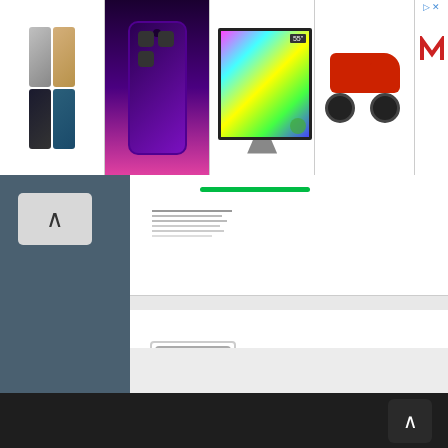[Figure (screenshot): Advertisement banner showing iPhone 12 Pro models, iPhone 13 Pro in purple, a 55-inch smart TV, a red scooter, and an M logo]
[Figure (screenshot): App listing for iziTime 5.18 showing tablet icon, app name, gray badge and red ADWARE badge]
SOFTWARE
A B C D E F G H I J K L M N O P Q R S T U V W X Y Z Zero 1 2 3 4 5 6 7 8 9 Other
Scroll to top button